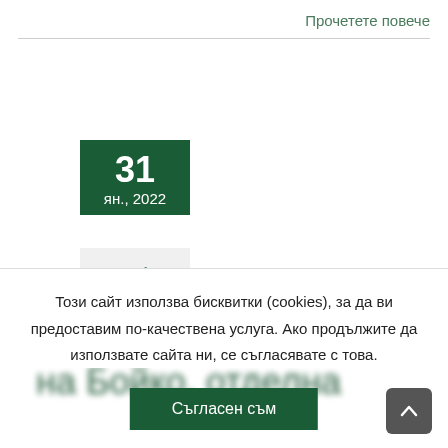Прочетете повече
[Figure (infographic): Calendar date block showing 31, Jan 2022 in dark green, with a grey pen icon box below]
Цацаров връща жеста на Бойко, отделя...
Този сайт използва бисквитки (cookies), за да ви предоставим по-качествена услуга. Ако продължите да използвате сайта ни, се съгласявате с това.
Съгласен съм